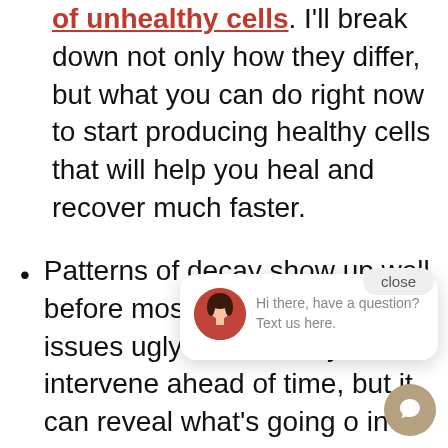of unhealthy cells. I'll break down not only how they differ, but what you can do right now to start producing healthy cells that will help you heal and recover much faster.
Patterns of decay show up well before most chronic health issues ugly h one k only intervene ahead of time, but it can reveal what's going on in this specific "jungle of life"
[Figure (other): Chat popup widget with avatar photo of a woman, close button, and message 'Hi there, have a question? Text us here.' with circular chat icon button in bottom right corner.]